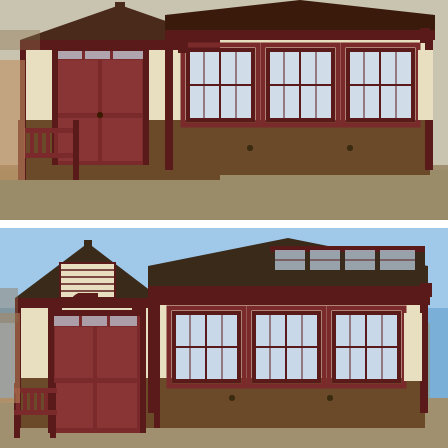[Figure (photo): Exterior view of a custom storage shed or small building with cream/tan siding, dark maroon/brown trim, double barn-style doors with transom windows on the left, multiple large double-hung windows on the right side, decorative porch railing in maroon, and a dark roof. The building sits on gravel in what appears to be a dealer lot. Photo taken from a front-left angle.]
[Figure (photo): Second exterior view of the same custom storage shed or small building with cream/tan siding, dark maroon/brown trim, a gambrel or cross-gabled roof with dark shingles, dormer or clerestory windows on the upper right section, louvered vent on the left gable, double barn-style doors with transom windows, large windows on the right, and decorative porch railing. Photo taken from a similar front-left angle but slightly different perspective showing the roof profile more clearly.]